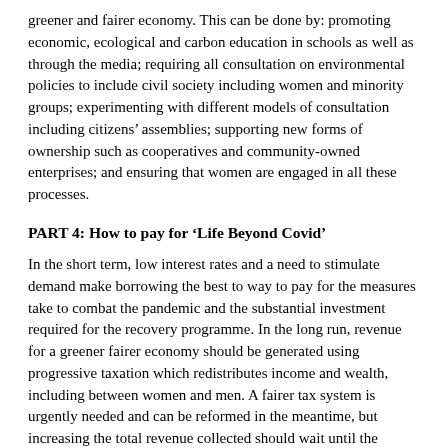greener and fairer economy. This can be done by: promoting economic, ecological and carbon education in schools as well as through the media; requiring all consultation on environmental policies to include civil society including women and minority groups; experimenting with different models of consultation including citizens' assemblies; supporting new forms of ownership such as cooperatives and community-owned enterprises; and ensuring that women are engaged in all these processes.
PART 4: How to pay for 'Life Beyond Covid'
In the short term, low interest rates and a need to stimulate demand make borrowing the best to way to pay for the measures take to combat the pandemic and the substantial investment required for the recovery programme. In the long run, revenue for a greener fairer economy should be generated using progressive taxation which redistributes income and wealth, including between women and men. A fairer tax system is urgently needed and can be reformed in the meantime, but increasing the total revenue collected should wait until the economy has fully recovered (in its new, greener and fairer shape).
Such a fairer tax system would close tax loopholes, redistribute wealth between women and men and, hold transnational corporations to account for practices that exploit people and planet. Tax reforms should include: a fossil fuels tax for corporations, a financial transaction tax and reform of income and corporation tax in a more progressive direction.